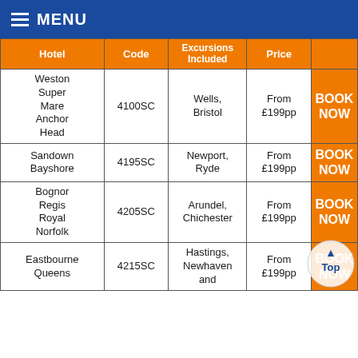MENU
| Hotel | Code | Excursions Included | Price |  |
| --- | --- | --- | --- | --- |
| Weston Super Mare Anchor Head | 4100SC | Wells, Bristol | From £199pp | BOOK NOW |
| Sandown Bayshore | 4195SC | Newport, Ryde | From £199pp | BOOK NOW |
| Bognor Regis Royal Norfolk | 4205SC | Arundel, Chichester | From £199pp | BOOK NOW |
| Eastbourne Queens | 4215SC | Hastings, Newhaven and | From £199pp | BOOK NOW |